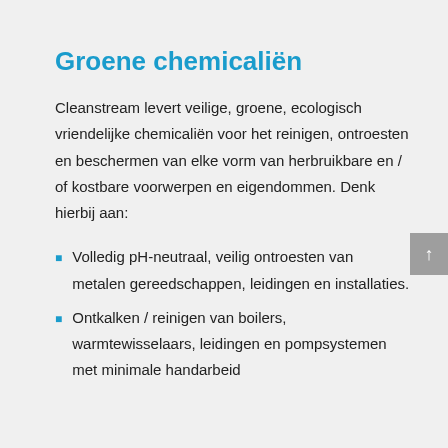Groene chemicaliën
Cleanstream levert veilige, groene, ecologisch vriendelijke chemicaliën voor het reinigen, ontroesten en beschermen van elke vorm van herbruikbare en / of kostbare voorwerpen en eigendommen. Denk hierbij aan:
Volledig pH-neutraal, veilig ontroesten van metalen gereedschappen, leidingen en installaties.
Ontkalken / reinigen van boilers, warmtewisselaars, leidingen en pompsystemen met minimale handarbeid